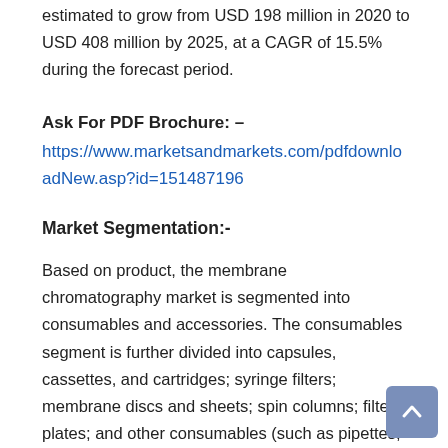estimated to grow from USD 198 million in 2020 to USD 408 million by 2025, at a CAGR of 15.5% during the forecast period.
Ask For PDF Brochure: – https://www.marketsandmarkets.com/pdfdownloadNew.asp?id=151487196
Market Segmentation:-
Based on product, the membrane chromatography market is segmented into consumables and accessories. The consumables segment is further divided into capsules, cassettes, and cartridges; syringe filters; membrane discs and sheets; spin columns; filter plates; and other consumables (such as pipettes, syringes, vials, and collection plates).